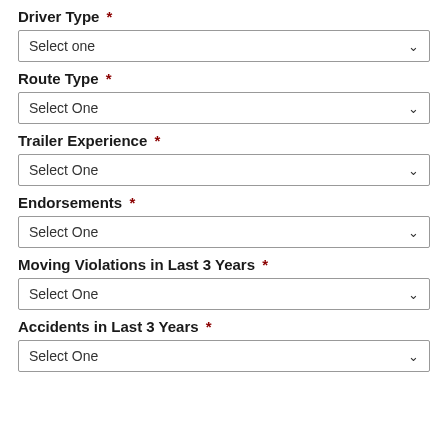Driver Type *
Select one
Route Type *
Select One
Trailer Experience *
Select One
Endorsements *
Select One
Moving Violations in Last 3 Years *
Select One
Accidents in Last 3 Years *
Select One